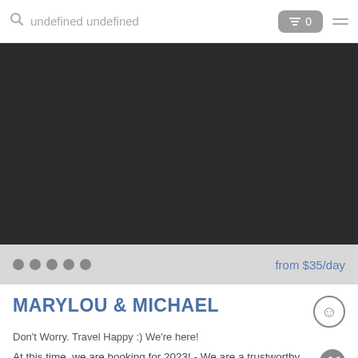undefined undefined  0
[Figure (photo): Dark/black rectangular photo area, image not loaded]
from $35/day
MARYLOU & MICHAEL
Don't Worry. Travel Happy :) We're here!
At this time, we are booking for 2023! - We are a trustworthy, clean & organized, non-smoking, 55+
3